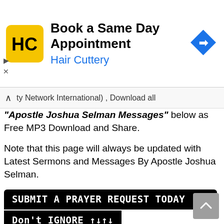[Figure (screenshot): Hair Cuttery advertisement banner with logo, title 'Book a Same Day Appointment', subtitle 'Hair Cuttery', and a blue navigation arrow icon on the right.]
ty Network International) , Download all "Apostle Joshua Selman Messages" below as Free MP3 Download and Share.
Note that this page will always be updated with Latest Sermons and Messages By Apostle Joshua Selman.
SUBMIT A PRAYER REQUEST TODAY ...
Don't IGNORE ↑↓↑↓